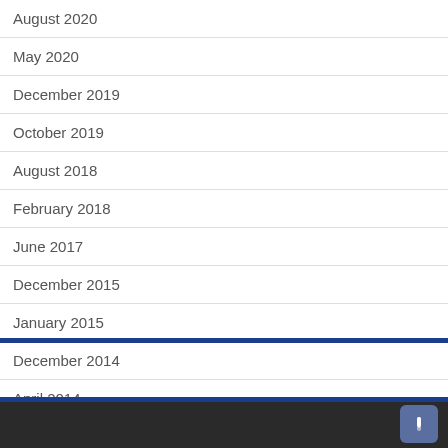August 2020
May 2020
December 2019
October 2019
August 2018
February 2018
June 2017
December 2015
January 2015
December 2014
April 2014